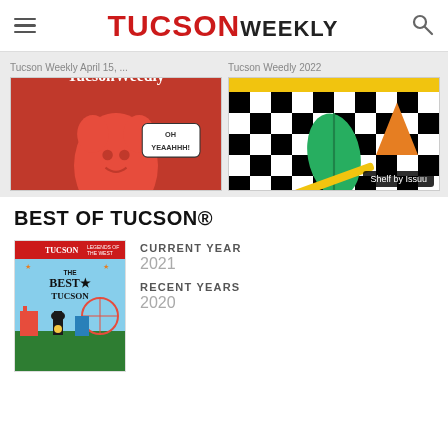TUCSON WEEKLY
[Figure (screenshot): Tucson Weedly April 15 magazine cover - red gummy bear character with cannabis theme]
Tucson Weekly April 15, ...
[Figure (screenshot): Tucson Weedly 2022 magazine cover - black and white checkerboard pattern with cannabis leaf]
Tucson Weedly 2022
BEST OF TUCSON®
[Figure (illustration): Best of Tucson magazine cover with carnival/fair theme]
CURRENT YEAR
2021
RECENT YEARS
2020